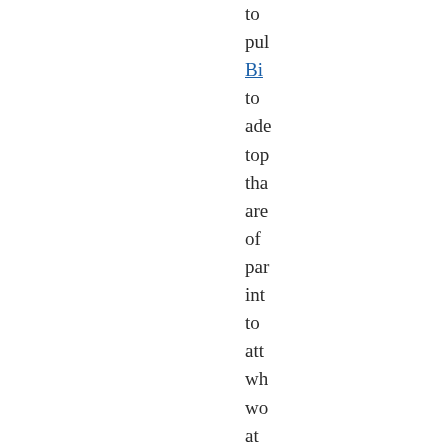to pub Big to add top tha are of par int to att wh wo at mi and lo